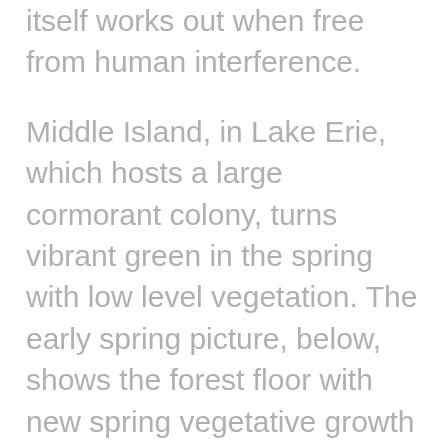odds with the balance that nature itself works out when free from human interference.
Middle Island, in Lake Erie, which hosts a large cormorant colony, turns vibrant green in the spring with low level vegetation. The early spring picture, below, shows the forest floor with new spring vegetative growth and a Canada goose nest. This is what becomes possible as the tree canopy opens, a process aided by the nesting activities of cormorants